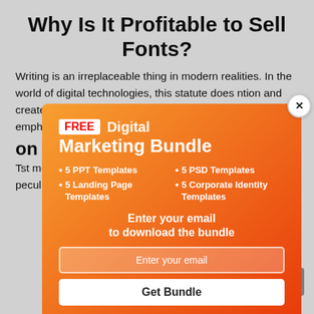Why Is It Profitable to Sell Fonts?
Writing is an irreplaceable thing in modern realities. In the world of digital technologies, this statute does not change — people constantly inform and create demand, prices, products, What is more, to emphasize its typography... s find out what the fonts can offer.
[Figure (infographic): Modal popup ad for a FREE Digital Marketing Bundle with gradient orange-to-red background. Contains 'FREE' badge in white with red text, title 'Digital Marketing Bundle', bullets: 5 PPT Templates, 5 PSD Templates, 5 Landing Page Templates, 5 Corporate Identity Templates. CTA: 'Enter your email to download the bundle'. Email input field and 'Get Bundle' button. Close X button in top-right corner.]
on
T... st mentioning of it appears far in the 15th century. Its peculiarity is